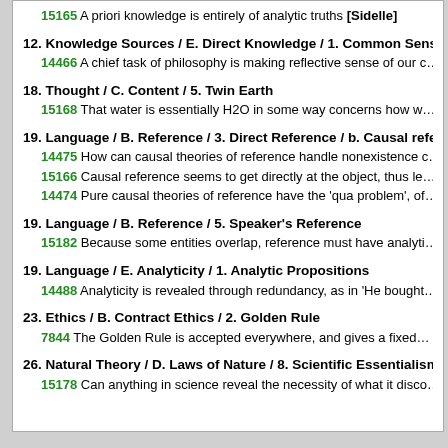15165 A priori knowledge is entirely of analytic truths [Sidelle]
12. Knowledge Sources / E. Direct Knowledge / 1. Common Sens…
14466 A chief task of philosophy is making reflective sense of our c…
18. Thought / C. Content / 5. Twin Earth
15168 That water is essentially H2O in some way concerns how w…
19. Language / B. Reference / 3. Direct Reference / b. Causal refe…
14475 How can causal theories of reference handle nonexistence c…
15166 Causal reference seems to get directly at the object, thus le…
14474 Pure causal theories of reference have the 'qua problem', of…
19. Language / B. Reference / 5. Speaker's Reference
15182 Because some entities overlap, reference must have analyti…
19. Language / E. Analyticity / 1. Analytic Propositions
14488 Analyticity is revealed through redundancy, as in 'He bought…
23. Ethics / B. Contract Ethics / 2. Golden Rule
7844 The Golden Rule is accepted everywhere, and gives a fixed…
26. Natural Theory / D. Laws of Nature / 8. Scientific Essentialism…
15178 Can anything in science reveal the necessity of what it disco…